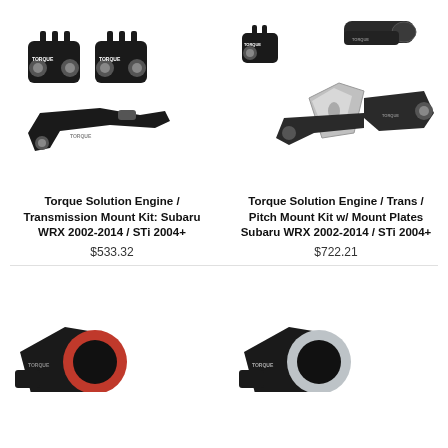[Figure (photo): Torque Solution Engine/Transmission Mount Kit parts — black billet aluminum mounts and bracket on white background]
Torque Solution Engine / Transmission Mount Kit: Subaru WRX 2002-2014 / STi 2004+
$533.32
[Figure (photo): Torque Solution Engine/Trans/Pitch Mount Kit with Mount Plates — black and silver billet aluminum parts on white background]
Torque Solution Engine / Trans / Pitch Mount Kit w/ Mount Plates Subaru WRX 2002-2014 / STi 2004+
$722.21
[Figure (photo): Torque Solution pitch mount — black and red variant, partially visible at bottom of page]
[Figure (photo): Torque Solution pitch mount — black and silver variant, partially visible at bottom of page]